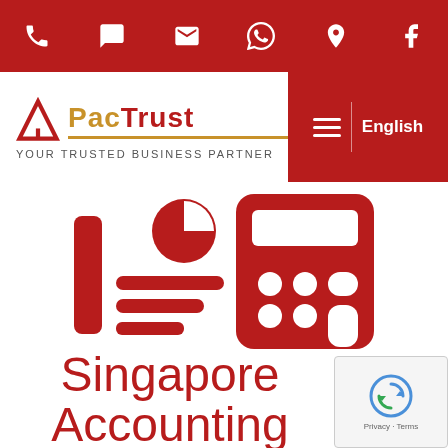Navigation icon bar with phone, chat, mail, WhatsApp, location, Facebook icons
[Figure (logo): PacTrust logo with red triangle/A icon and gold/red wordmark. Tagline: YOUR TRUSTED BUSINESS PARTNER]
English
[Figure (illustration): Red accounting/calculator icon composite image showing a document list icon and a calculator icon on white background]
Singapore Accounting
[Figure (other): Google reCAPTCHA badge with Privacy and Terms links]